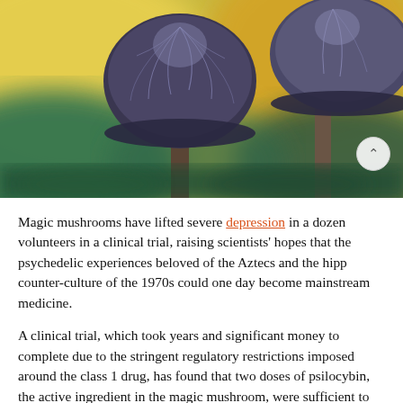[Figure (photo): Close-up photograph of two dark mushrooms with textured caps resembling psilocybin mushrooms, set against a blurred yellow and green background.]
Magic mushrooms have lifted severe depression in a dozen volunteers in a clinical trial, raising scientists' hopes that the psychedelic experiences beloved of the Aztecs and the hipp counter-culture of the 1970s could one day become mainstream medicine.
A clinical trial, which took years and significant money to complete due to the stringent regulatory restrictions imposed around the class 1 drug, has found that two doses of psilocybin, the active ingredient in the magic mushroom, were sufficient to lift